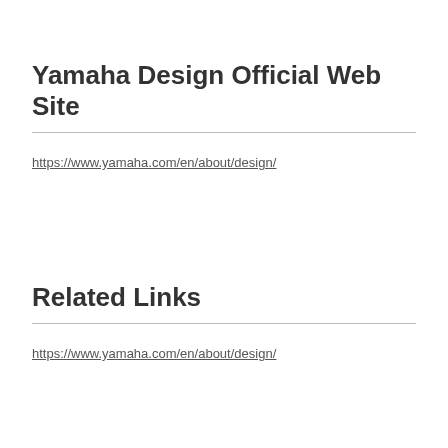Yamaha Design Official Web Site
https://www.yamaha.com/en/about/design/
Related Links
https://www.yamaha.com/en/about/design/
Latest News Releases